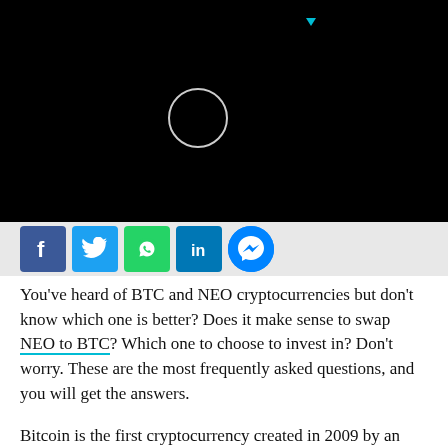[Figure (screenshot): Black header bar with a circular loading icon and a small cyan/teal downward triangle indicator]
[Figure (infographic): Social media share buttons row: Facebook (blue f), Twitter (blue bird), WhatsApp (green phone), LinkedIn (blue in), Messenger (blue lightning bolt)]
You've heard of BTC and NEO cryptocurrencies but don't know which one is better? Does it make sense to swap NEO to BTC? Which one to choose to invest in? Don't worry. These are the most frequently asked questions, and you will get the answers.
Bitcoin is the first cryptocurrency created in 2009 by an individual or group named Satoshi Nakamoto. It has been advocated as an alternative to traditional banking since the financial crisis of 2008. The network is a decentralized and anonymous system.